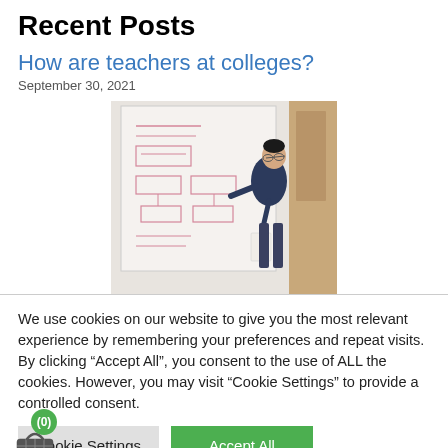Recent Posts
How are teachers at colleges?
September 30, 2021
[Figure (photo): A person writing or pointing at a whiteboard covered with notes and diagrams, standing next to a wooden door.]
We use cookies on our website to give you the most relevant experience by remembering your preferences and repeat visits. By clicking “Accept All”, you consent to the use of ALL the cookies. However, you may visit "Cookie Settings" to provide a controlled consent.